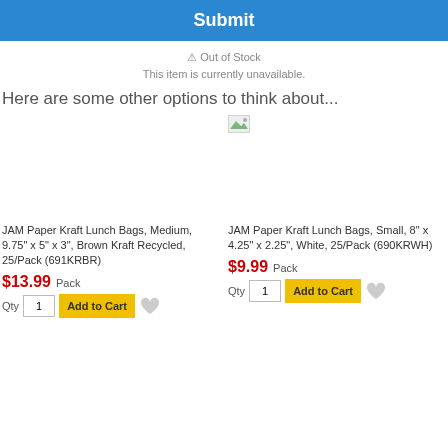Submit
⚠ Out of Stock
This item is currently unavailable.
Here are some other options to think about...
[Figure (photo): Product image placeholder (broken image) for JAM Paper Kraft Lunch Bags, Medium]
JAM Paper Kraft Lunch Bags, Medium, 9.75" x 5" x 3", Brown Kraft Recycled, 25/Pack (691KRBR)
$13.99 Pack
Qty 1 Add to Cart
[Figure (photo): Product image placeholder (broken image) for JAM Paper Kraft Lunch Bags, Small]
JAM Paper Kraft Lunch Bags, Small, 8" x 4.25" x 2.25", White, 25/Pack (690KRWH)
$9.99 Pack
Qty 1 Add to Cart